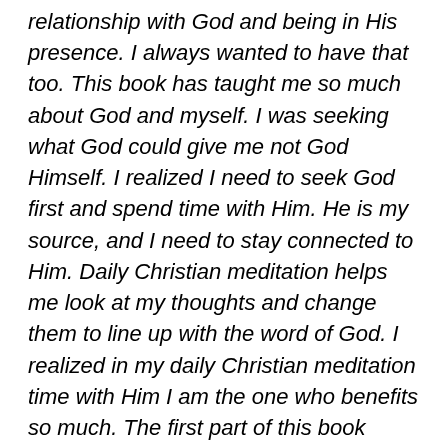relationship with God and being in His presence. I always wanted to have that too. This book has taught me so much about God and myself. I was seeking what God could give me not God Himself. I realized I need to seek God first and spend time with Him. He is my source, and I need to stay connected to Him. Daily Christian meditation helps me look at my thoughts and change them to line up with the word of God. I realized in my daily Christian meditation time with Him I am the one who benefits so much. The first part of this book starts out with an overview of how Christian meditation can improve your relationship with God.